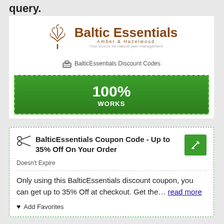query.
[Figure (logo): Baltic Essentials Amber & Hazelwood logo with tree graphic. Tagline: Your source for natural pain management]
BalticEssentials Discount Codes
[Figure (infographic): Green banner with dashed border showing 100% WORKS]
BalticEssentials Coupon Code - Up to 35% Off On Your Order
Doesn't Expire
Only using this BalticEssentials discount coupon, you can get up to 35% Off at checkout. Get the… read more
Add Favorites